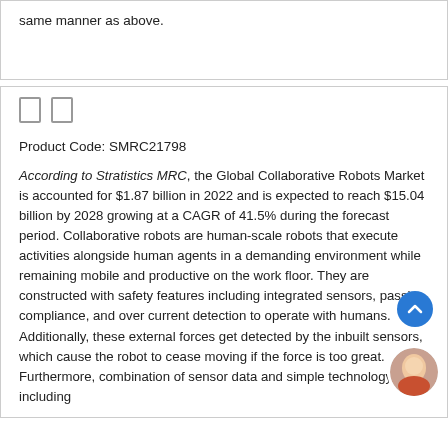same manner as above.
Product Code: SMRC21798
According to Stratistics MRC, the Global Collaborative Robots Market is accounted for $1.87 billion in 2022 and is expected to reach $15.04 billion by 2028 growing at a CAGR of 41.5% during the forecast period. Collaborative robots are human-scale robots that execute activities alongside human agents in a demanding environment while remaining mobile and productive on the work floor. They are constructed with safety features including integrated sensors, passive compliance, and over current detection to operate with humans. Additionally, these external forces get detected by the inbuilt sensors, which cause the robot to cease moving if the force is too great. Furthermore, combination of sensor data and simple technology including artificial intelligence & machine learning with the cobot to